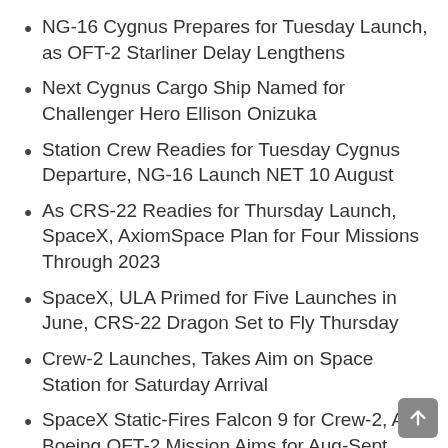NG-16 Cygnus Prepares for Tuesday Launch, as OFT-2 Starliner Delay Lengthens
Next Cygnus Cargo Ship Named for Challenger Hero Ellison Onizuka
Station Crew Readies for Tuesday Cygnus Departure, NG-16 Launch NET 10 August
As CRS-22 Readies for Thursday Launch, SpaceX, AxiomSpace Plan for Four Missions Through 2023
SpaceX, ULA Primed for Five Launches in June, CRS-22 Dragon Set to Fly Thursday
Crew-2 Launches, Takes Aim on Space Station for Saturday Arrival
SpaceX Static-Fires Falcon 9 for Crew-2, As Boeing OFT-2 Mission Aims for Aug-Sept Launch
Crew-2 Astronauts Discuss Upcoming Mission, Eye